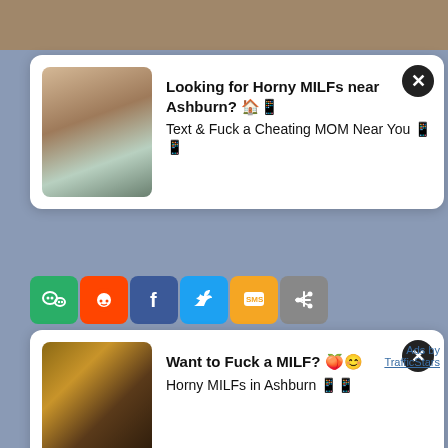[Figure (screenshot): Adult advertising overlay screenshot showing two popup ad cards on a pornographic website. First ad: 'Looking for Horny MILFs near Ashburn? Text & Fuck a Cheating MOM Near You' with thumbnail image. Second ad: 'Want to Fuck a MILF? Horny MILFs in Ashburn' with thumbnail image. Social share bar visible with WeChat, Reddit, Facebook, Twitter, SMS buttons. Bottom portion shows video thumbnails. TrafficStars attribution visible.]